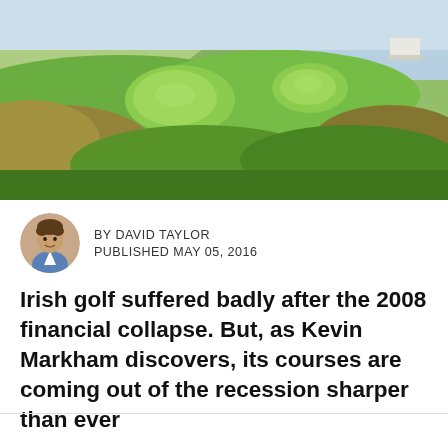[Figure (photo): Aerial view of a lush green Irish golf course with undulating fairways, rough grassy hills, and ocean/landscape in the background.]
BY DAVID TAYLOR
PUBLISHED MAY 05, 2016
Irish golf suffered badly after the 2008 financial collapse. But, as Kevin Markham discovers, its courses are coming out of the recession sharper than ever